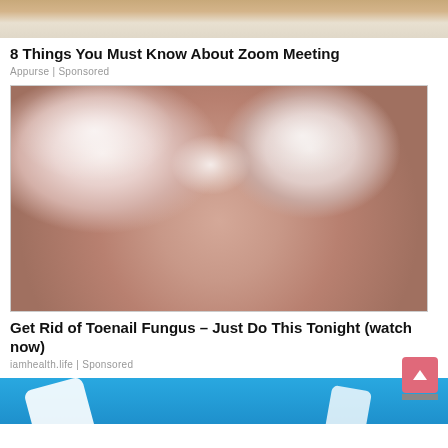[Figure (photo): Partial top image showing a desk/table background, cropped at top]
8 Things You Must Know About Zoom Meeting
Appurse | Sponsored
[Figure (photo): Close-up photo of toes with white cream/treatment applied to toenails affected by fungus]
Get Rid of Toenail Fungus – Just Do This Tonight (watch now)
iamhealth.life | Sponsored
[Figure (photo): Partial bottom image with blue background, partially visible, cropped at bottom]